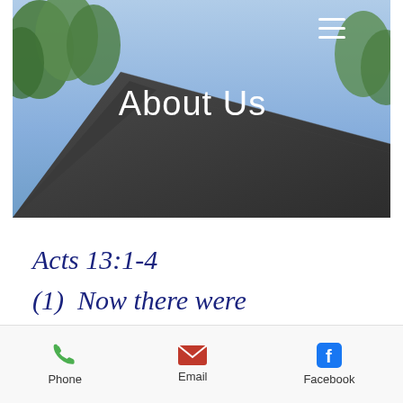[Figure (photo): Outdoor photo showing a dark church or building roof against a blue sky with green trees in the upper left corner. A hamburger menu icon appears in the upper right. 'About Us' is overlaid in white text in the center.]
About Us
Acts 13:1-4
(1)  Now there were
Phone   Email   Facebook